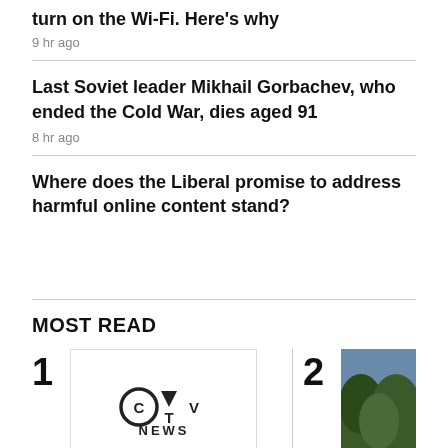turn on the Wi-Fi. Here's why
9 hr ago
Last Soviet leader Mikhail Gorbachev, who ended the Cold War, dies aged 91
8 hr ago
Where does the Liberal promise to address harmful online content stand?
MOST READ
[Figure (logo): CTV News logo inside a bordered image box, item ranked 1 in Most Read]
[Figure (photo): Partial outdoor photo showing trees and sky, item ranked 2 in Most Read]